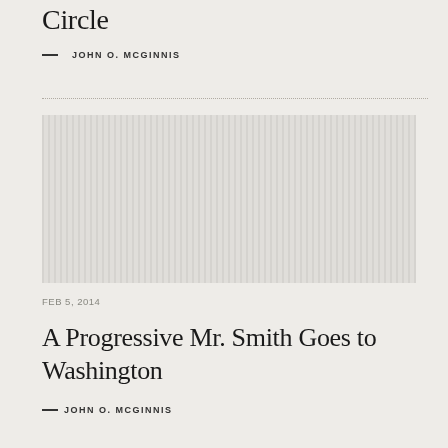Circle
— JOHN O. MCGINNIS
[Figure (photo): Striped placeholder image with vertical grey lines pattern]
FEB 5, 2014
A Progressive Mr. Smith Goes to Washington
— JOHN O. MCGINNIS